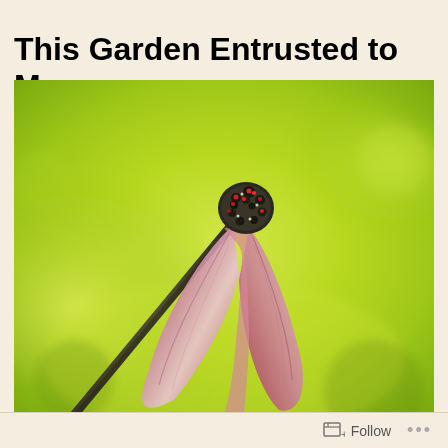This Garden Entrusted to Me
[Figure (photo): Close-up macro photograph of a wilting or drooping flower with pink/magenta petals hanging downward and a dark spiky seed head at the top, set against a blurred bright yellow-green bokeh background.]
Follow ...